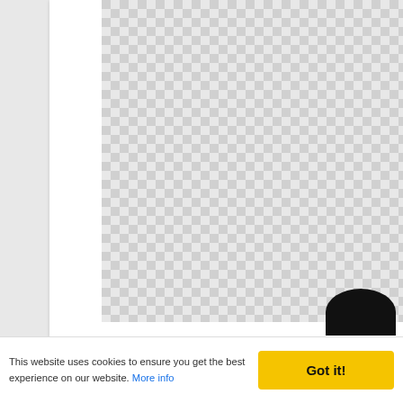[Figure (other): Checkerboard placeholder image (transparent/missing image pattern) inside a white card]
Cute Meatball Burger Easy Cooking
[Figure (other): Second checkerboard placeholder image inside a white card, partially visible]
This website uses cookies to ensure you get the best experience on our website. More info